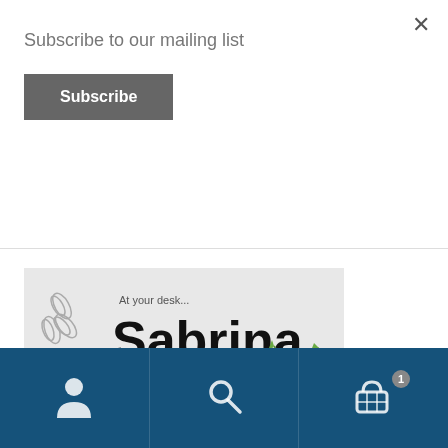Subscribe to our mailing list
Subscribe
[Figure (illustration): Font preview card for 'Sabrina' multilingual neo-grotesque font family of 20 styles. Shows text: 'At your desk...', large bold 'Sabrina', bullet points: Latin, Кириллица + Кирилица, Ελληνικα. Background is light grey with paperclip and plant decorations.]
Sabrina
[Figure (screenshot): Partial view of a next product card with dark blue background]
Navigation bar with account, search, and cart (1 item) icons